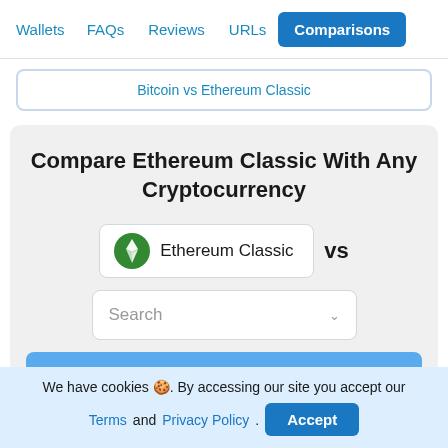Wallets  FAQs  Reviews  URLs  Comparisons
Bitcoin vs Ethereum Classic
Compare Ethereum Classic With Any Cryptocurrency
[Figure (screenshot): Ethereum Classic crypto selector showing green ETC logo and label 'Ethereum Classic' with VS text, and a Search dropdown below]
We have cookies 🍪. By accessing our site you accept our Terms and Privacy Policy.